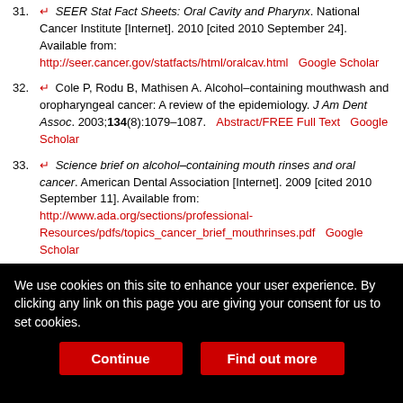31. ↵ SEER Stat Fact Sheets: Oral Cavity and Pharynx. National Cancer Institute [Internet]. 2010 [cited 2010 September 24]. Available from: http://seer.cancer.gov/statfacts/html/oralcav.html  Google Scholar
32. ↵ Cole P, Rodu B, Mathisen A. Alcohol–containing mouthwash and oropharyngeal cancer: A review of the epidemiology. J Am Dent Assoc. 2003;134(8):1079–1087.  Abstract/FREE Full Text  Google Scholar
33. ↵ Science brief on alcohol–containing mouth rinses and oral cancer. American Dental Association [Internet]. 2009 [cited 2010 September 11]. Available from: http://www.ada.org/sections/professional-Resources/pdfs/topics_cancer_brief_mouthrinses.pdf  Google Scholar
34. ↵ Food and Drug Administration. Oral health care drug products for over–the–counter human use: anti–gingivitis/anti–plaque drug products; Establishment of a monograph; proposed rules. Fed Regist.
We use cookies on this site to enhance your user experience. By clicking any link on this page you are giving your consent for us to set cookies.